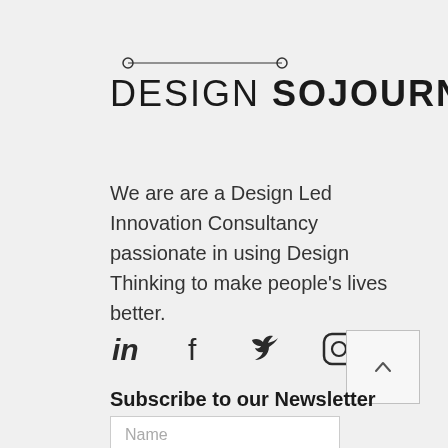[Figure (logo): Design Sojourn logo with decorative line and two circles on top, text reading DESIGN SOJOURN with DESIGN in light weight and SOJOURN in bold]
We are are a Design Led Innovation Consultancy passionate in using Design Thinking to make people's lives better.
[Figure (infographic): Social media icons: LinkedIn, Facebook, Twitter, Instagram]
Subscribe to our Newsletter
Name